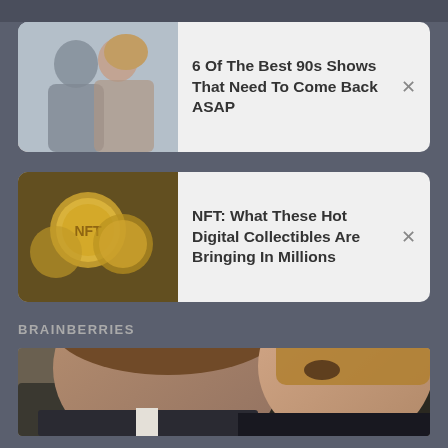[Figure (screenshot): Ad card 1: thumbnail of two people (90s TV show actors) with text '6 Of The Best 90s Shows That Need To Come Back ASAP' and a close button X]
[Figure (screenshot): Ad card 2: thumbnail of gold NFT coins with text 'NFT: What These Hot Digital Collectibles Are Bringing In Millions' and a close button X]
BRAINBERRIES
[Figure (photo): Large photo of a man and woman, appearing to be Arnold Schwarzenegger and Maria Shriver, in formal attire, looking sideways]